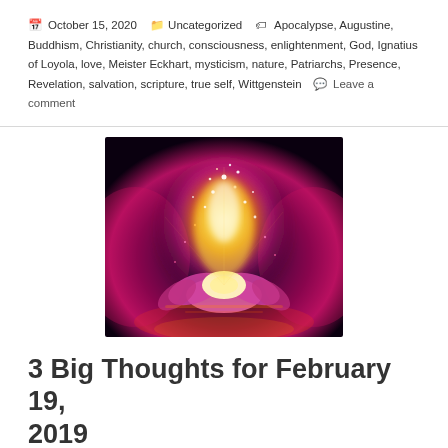October 15, 2020  Uncategorized  Apocalypse, Augustine, Buddhism, Christianity, church, consciousness, enlightenment, God, Ignatius of Loyola, love, Meister Eckhart, mysticism, nature, Patriarchs, Presence, Revelation, salvation, scripture, true self, Wittgenstein  Leave a comment
[Figure (photo): A glowing luminous lotus flower floating on water with magical sparkles and light rays in purple, pink, orange and yellow tones against a dark background.]
3 Big Thoughts for February 19, 2019